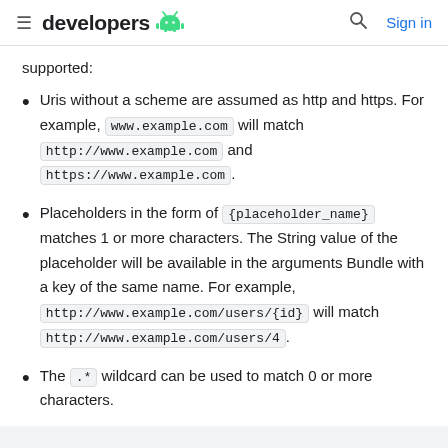≡ developers [android logo] 🔍 Sign in
supported:
Uris without a scheme are assumed as http and https. For example, www.example.com will match http://www.example.com and https://www.example.com .
Placeholders in the form of {placeholder_name} matches 1 or more characters. The String value of the placeholder will be available in the arguments Bundle with a key of the same name. For example, http://www.example.com/users/{id} will match http://www.example.com/users/4 .
The .* wildcard can be used to match 0 or more characters.